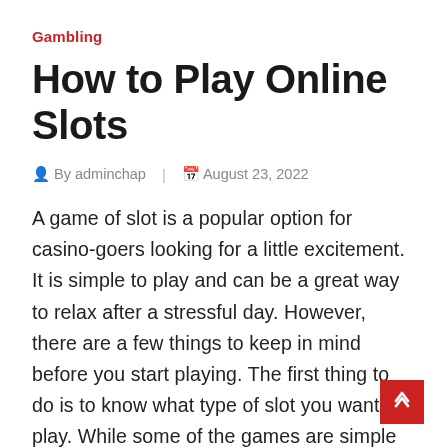Gambling
How to Play Online Slots
By adminchap | August 23, 2022
A game of slot is a popular option for casino-goers looking for a little excitement. It is simple to play and can be a great way to relax after a stressful day. However, there are a few things to keep in mind before you start playing. The first thing to do is to know what type of slot you want to play. While some of the games are simple to understand, some can be incredibly complex. The good news is that there are